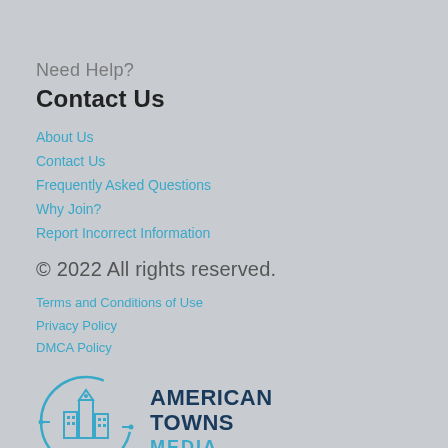Need Help?
Contact Us
About Us
Contact Us
Frequently Asked Questions
Why Join?
Report Incorrect Information
© 2022 All rights reserved.
Terms and Conditions of Use
Privacy Policy
DMCA Policy
[Figure (logo): American Towns Media logo — circular icon with stylized city buildings and network lines, with text AMERICAN TOWNS MEDIA beside it]
© 2022 Local Content Optimization powered by AmericanTowns Media.